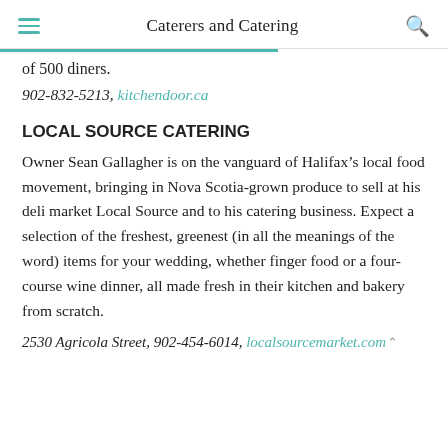Caterers and Catering
of 500 diners.
902-832-5213, kitchendoor.ca
LOCAL SOURCE CATERING
Owner Sean Gallagher is on the vanguard of Halifax’s local food movement, bringing in Nova Scotia-grown produce to sell at his deli market Local Source and to his catering business. Expect a selection of the freshest, greenest (in all the meanings of the word) items for your wedding, whether finger food or a four-course wine dinner, all made fresh in their kitchen and bakery from scratch.
2530 Agricola Street, 902-454-6014, localsourcemarket.com